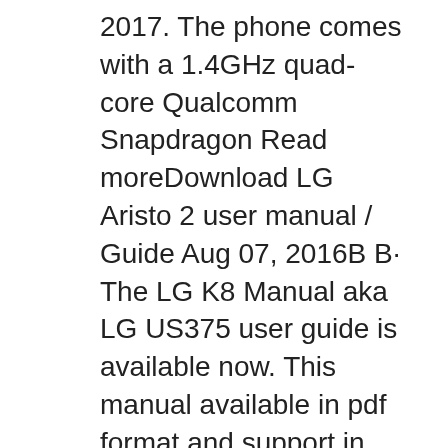2017. The phone comes with a 1.4GHz quad-core Qualcomm Snapdragon Read moreDownload LG Aristo 2 user manual / Guide Aug 07, 2016B B· The LG K8 Manual aka LG US375 user guide is available now. This manual available in pdf format and support in english language. The device is comes with features such as 4G LTE Data Capability, 5" HD display, and powered by Qualcomm Snapdragon 210 processor.
Mar 07, 2018B B· LG K8 2018 User Guide Manual Tips Tricks Download In this post I am posting a link of PDF file that will help you to use LG K8 2018 in this PDF Guide all tips and tricks are mentioned so that a user can easily use